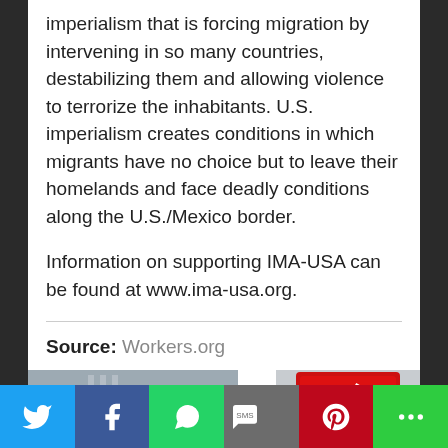imperialism that is forcing migration by intervening in so many countries, destabilizing them and allowing violence to terrorize the inhabitants. U.S. imperialism creates conditions in which migrants have no choice but to leave their homelands and face deadly conditions along the U.S./Mexico border.

Information on supporting IMA-USA can be found at www.ima-usa.org.
Source: Workers.org
[Figure (photo): Photograph (partially visible) showing outdoor scene, bottom portion of page]
[Figure (logo): Red square logo with white icon showing a pen/writing symbol and diagonal line]
Social share bar: Twitter, Facebook, WhatsApp, SMS, Pinterest, More